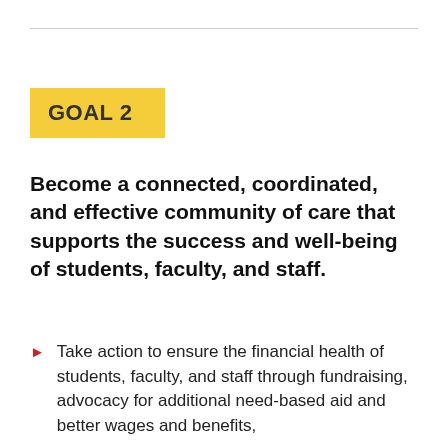GOAL 2
Become a connected, coordinated, and effective community of care that supports the success and well-being of students, faculty, and staff.
Take action to ensure the financial health of students, faculty, and staff through fundraising, advocacy for additional need-based aid and better wages and benefits,